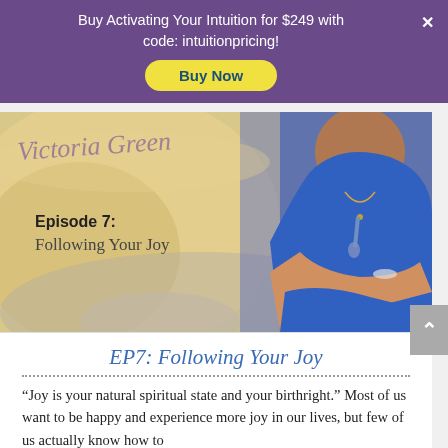Buy Activating Your Intuition for $249 with code: intuitionpricing!
[Figure (photo): Website screenshot showing a promotional banner with purple background and yellow Buy Now button, overlaying a photo of a woman in blue clothing seated outdoors with text 'Episode 7: Following Your Joy' and cursive script overlay]
EP7: Following Your Joy
“Joy is your natural spiritual state and your birthright.” Most of us want to be happy and experience more joy in our lives, but few of us actually know how to